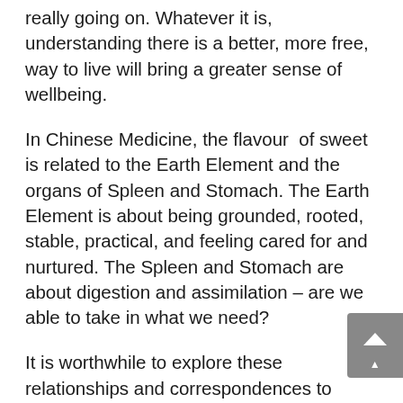really going on. Whatever it is, understanding there is a better, more free, way to live will bring a greater sense of wellbeing.
In Chinese Medicine, the flavour of sweet is related to the Earth Element and the organs of Spleen and Stomach. The Earth Element is about being grounded, rooted, stable, practical, and feeling cared for and nurtured. The Spleen and Stomach are about digestion and assimilation – are we able to take in what we need?
It is worthwhile to explore these relationships and correspondences to delve more deeply what is going on about our sugar addictions. Going sugar free helps us to break that physical link and yet here are other ways we are using sugar and sweets as a stand in that cannot be ignored.